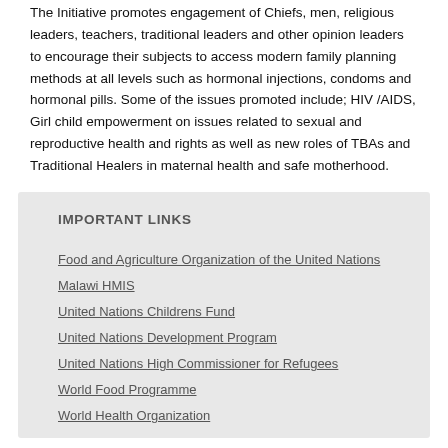The Initiative promotes engagement of Chiefs, men, religious leaders, teachers, traditional leaders and other opinion leaders to encourage their subjects to access modern family planning methods at all levels such as hormonal injections, condoms and hormonal pills. Some of the issues promoted include; HIV /AIDS, Girl child empowerment on issues related to sexual and reproductive health and rights as well as new roles of TBAs and Traditional Healers in maternal health and safe motherhood.
IMPORTANT LINKS
Food and Agriculture Organization of the United Nations
Malawi HMIS
United Nations Childrens Fund
United Nations Development Program
United Nations High Commissioner for Refugees
World Food Programme
World Health Organization